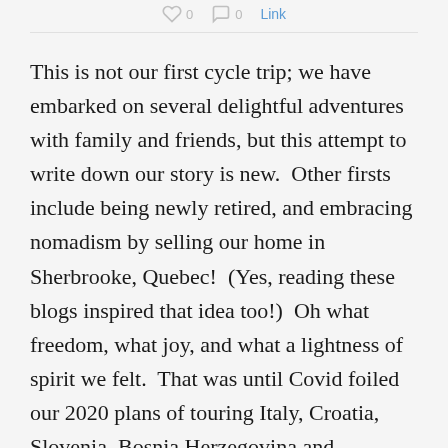0  0  Link
This is not our first cycle trip; we have embarked on several delightful adventures with family and friends, but this attempt to write down our story is new.  Other firsts include being newly retired, and embracing nomadism by selling our home in Sherbrooke, Quebec!  (Yes, reading these blogs inspired that idea too!)  Oh what freedom, what joy, and what a lightness of spirit we felt.  That was until Covid foiled our 2020 plans of touring Italy, Croatia, Slovenia, Bosnia Herzegovina and Bermuda!
So we retrenched and thought where we might capture that euphoric feeling of heading off to